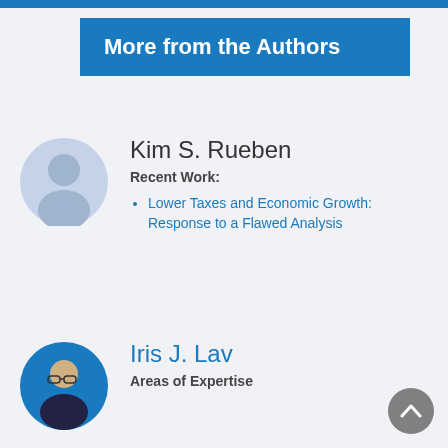More from the Authors
Kim S. Rueben
Recent Work:
Lower Taxes and Economic Growth: Response to a Flawed Analysis
Iris J. Lav
Areas of Expertise